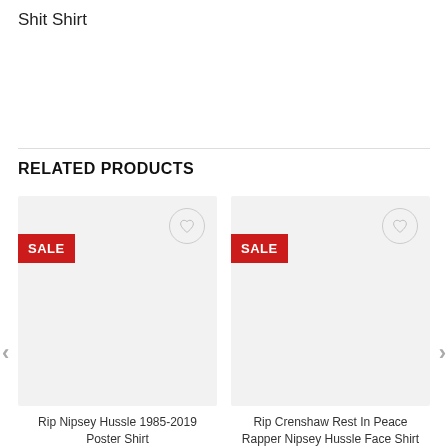Shit Shirt
RELATED PRODUCTS
[Figure (screenshot): Product card: Rip Nipsey Hussle 1985-2019 Poster Shirt with SALE badge and wishlist heart button, gray image placeholder]
Rip Nipsey Hussle 1985-2019 Poster Shirt
$24.95  $21.99
[Figure (screenshot): Product card: Rip Crenshaw Rest In Peace Rapper Nipsey Hussle Face Shirt with SALE badge and wishlist heart button, gray image placeholder]
Rip Crenshaw Rest In Peace Rapper Nipsey Hussle Face Shirt
$24.95  $21.99